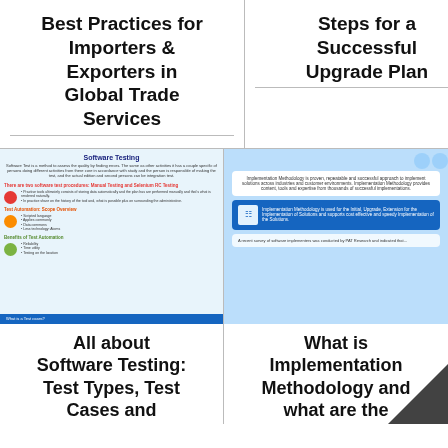Best Practices for Importers & Exporters in Global Trade Services
Steps for a Successful Upgrade Plan
[Figure (screenshot): Thumbnail of a document titled 'Software Testing' with colorful icons and sections on manual testing, test automation, and benefits.]
All about Software Testing: Test Types, Test Cases and
[Figure (screenshot): Thumbnail of a document about Implementation Methodology with blue UI elements and descriptive text boxes.]
What is Implementation Methodology and what are the